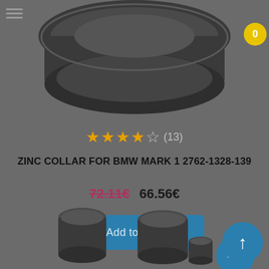[Figure (photo): Top view of a dark grey zinc collar automotive part (bowl/flange shaped), partially cropped at top]
(13)
ZINC COLLAR FOR BMW MARK 1 2762-1328-139
72.11€  66.56€
Add to Cart
-8%
[Figure (photo): Bottom section showing multiple small dark grey zinc collar parts in various sizes]